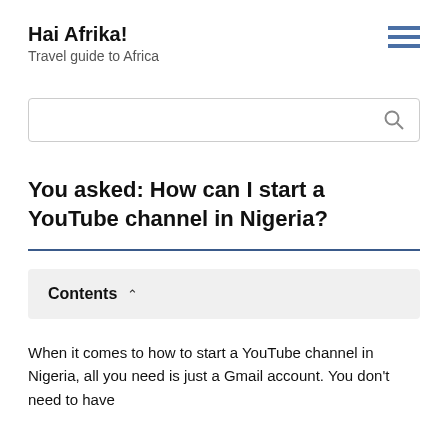Hai Afrika! Travel guide to Africa
You asked: How can I start a YouTube channel in Nigeria?
Contents
When it comes to how to start a YouTube channel in Nigeria, all you need is just a Gmail account. You don't need to have